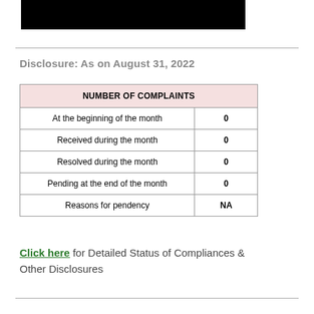[Figure (other): Black redacted banner at top of page]
Disclosure: As on August 31, 2022
| NUMBER OF COMPLAINTS |  |
| --- | --- |
| At the beginning of the month | 0 |
| Received during the month | 0 |
| Resolved during the month | 0 |
| Pending at the end of the month | 0 |
| Reasons for pendency | NA |
Click here for Detailed Status of Compliances & Other Disclosures